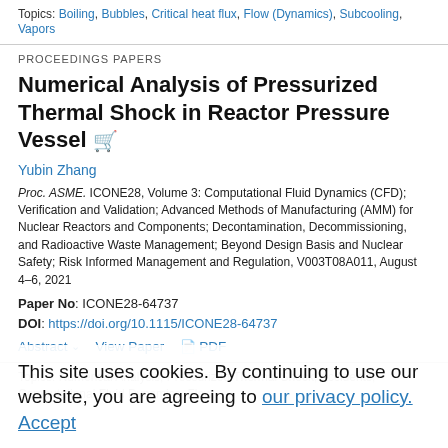Topics: Boiling, Bubbles, Critical heat flux, Flow (Dynamics), Subcooling, Vapors
PROCEEDINGS PAPERS
Numerical Analysis of Pressurized Thermal Shock in Reactor Pressure Vessel
Yubin Zhang
Proc. ASME. ICONE28, Volume 3: Computational Fluid Dynamics (CFD); Verification and Validation; Advanced Methods of Manufacturing (AMM) for Nuclear Reactors and Components; Decontamination, Decommissioning, and Radioactive Waste Management; Beyond Design Basis and Nuclear Safety; Risk Informed Management and Regulation, V003T08A011, August 4–6, 2021
Paper No: ICONE28-64737
DOI: https://doi.org/10.1115/ICONE28-64737
Abstract  View Paper  PDF
This site uses cookies. By continuing to use our website, you are agreeing to our privacy policy. Accept